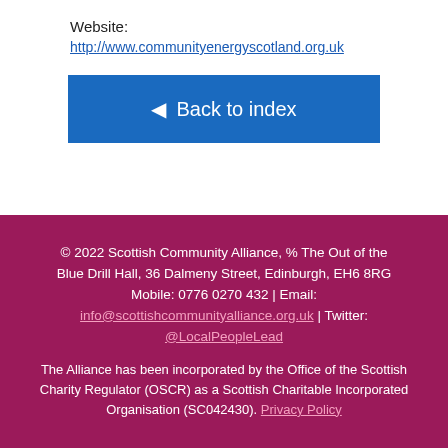Website:
http://www.communityenergyscotland.org.uk
◄ Back to index
© 2022 Scottish Community Alliance, % The Out of the Blue Drill Hall, 36 Dalmeny Street, Edinburgh, EH6 8RG Mobile: 0776 0270 432 | Email: info@scottishcommunityalliance.org.uk | Twitter: @LocalPeopleLead

The Alliance has been incorporated by the Office of the Scottish Charity Regulator (OSCR) as a Scottish Charitable Incorporated Organisation (SC042430). Privacy Policy